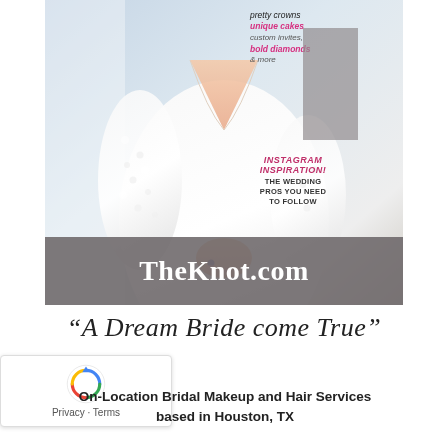[Figure (photo): Cover of a bridal magazine (TheKnot.com) showing a bride in a white lace dress clasping her hands, with sidebar text mentioning 'pretty crowns', 'unique cakes', 'bold diamonds & more' and 'INSTAGRAM INSPIRATION! THE WEDDING PROS YOU NEED TO FOLLOW'. Gray banner at bottom reads 'TheKnot.com'.]
“A Dream Bride come True”
On-Location Bridal Makeup and Hair Services based in Houston, TX